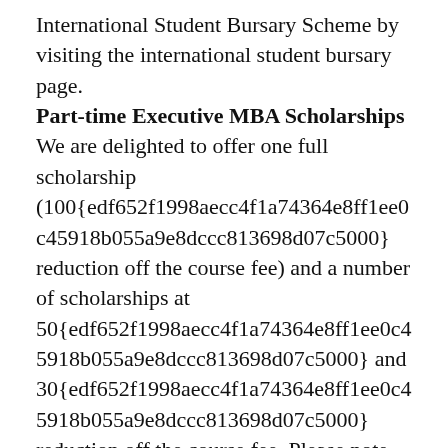International Student Bursary Scheme by visiting the international student bursary page.
Part-time Executive MBA Scholarships
We are delighted to offer one full scholarship (100{edf652f1998aecc4f1a74364e8ff1ee0c45918b055a9e8dccc813698d07c5000} reduction off the course fee) and a number of scholarships at 50{edf652f1998aecc4f1a74364e8ff1ee0c45918b055a9e8dccc813698d07c5000} and 30{edf652f1998aecc4f1a74364e8ff1ee0c45918b055a9e8dccc813698d07c5000} reduction off the course fee. Please note the scholarships cannot be taken in conjunction with any other discount or bursary offered by the University with the exception of the 2{edf652f1998aecc4f1a74364e8ff1ee0c45918b055a9e8dccc813698d07c5000} early payment discount which is applied to the net value of the fee. The early payment discount is available to